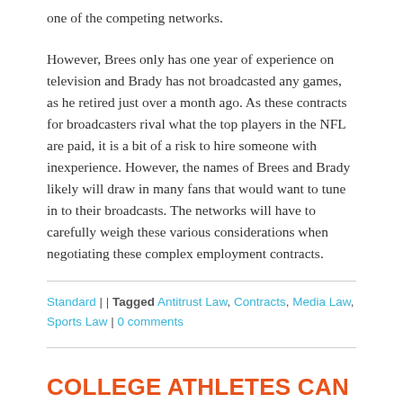one of the competing networks.
However, Brees only has one year of experience on television and Brady has not broadcasted any games, as he retired just over a month ago. As these contracts for broadcasters rival what the top players in the NFL are paid, it is a bit of a risk to hire someone with inexperience. However, the names of Brees and Brady likely will draw in many fans that would want to tune in to their broadcasts. The networks will have to carefully weigh these various considerations when negotiating these complex employment contracts.
Standard | | Tagged Antitrust Law, Contracts, Media Law, Sports Law | 0 comments
COLLEGE ATHLETES CAN PROFIT FROM THEIR NAMES, IMAGES, AND